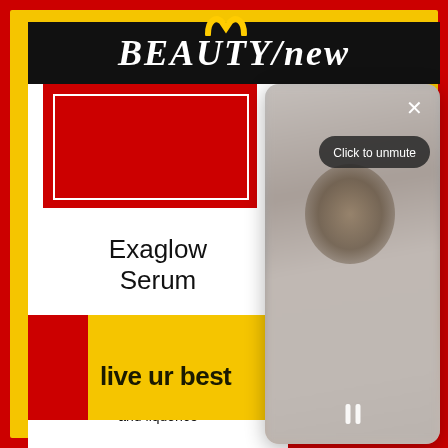[Figure (screenshot): McDonald's ad overlay on a beauty/skincare editorial page showing Exaglow Serum product with a video player overlay and a bottom banner ad reading 'live ur best' with a burger image]
Exaglow Serum
5% tranexamic acid serum with vitamin c, niacinamide, lactic acid and liquorice
Click to unmute
live ur best